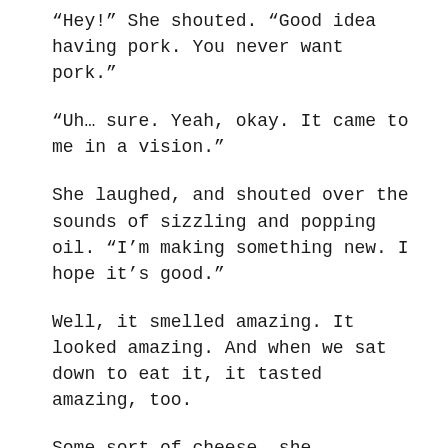“Hey!” She shouted. “Good idea having pork. You never want pork.”
“Uh… sure. Yeah, okay. It came to me in a vision.”
She laughed, and shouted over the sounds of sizzling and popping oil. “I’m making something new. I hope it’s good.”
Well, it smelled amazing. It looked amazing. And when we sat down to eat it, it tasted amazing, too.
Some sort of cheese, she explained, and a bunch of new spices, since she had to throw out all the ones she hadn’t realized were past expiration. Some citrus. And it was breaded. She never got to